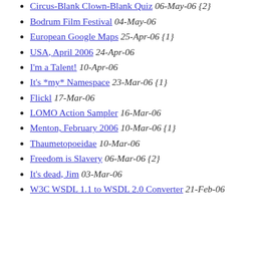Identity It's the Future, Can't You See? 11-May-06 {1}
Circus-Blank Clown-Blank Quiz 06-May-06 {2}
Bodrum Film Festival 04-May-06
European Google Maps 25-Apr-06 {1}
USA, April 2006 24-Apr-06
I'm a Talent! 10-Apr-06
It's *my* Namespace 23-Mar-06 {1}
Flickl 17-Mar-06
LOMO Action Sampler 16-Mar-06
Menton, February 2006 10-Mar-06 {1}
Thaumetopoeidae 10-Mar-06
Freedom is Slavery 06-Mar-06 {2}
It's dead, Jim 03-Mar-06
W3C WSDL 1.1 to WSDL 2.0 Converter 21-Feb-06